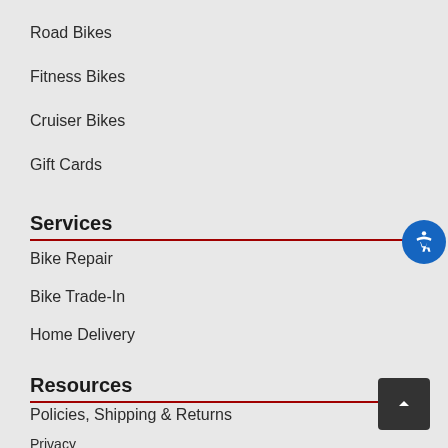Road Bikes
Fitness Bikes
Cruiser Bikes
Gift Cards
Services
Bike Repair
Bike Trade-In
Home Delivery
Resources
Policies, Shipping & Returns
Privacy
Careers